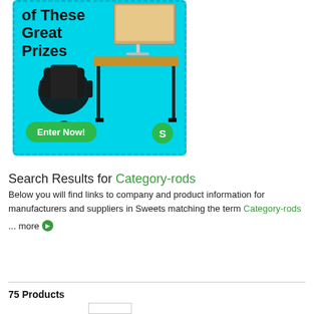[Figure (illustration): Advertisement banner with cyan/teal background showing office furniture prizes: ergonomic chair and standing desk with computer monitor. Text reads 'of These Great Prizes'. Green 'Enter Now!' button at bottom left, green 'S' badge at bottom right.]
Search Results for Category-rods
Below you will find links to company and product information for manufacturers and suppliers in Sweets matching the term Category-rods ... more
75 Products